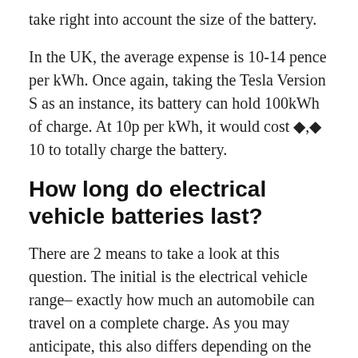take right into account the size of the battery.
In the UK, the average expense is 10-14 pence per kWh. Once again, taking the Tesla Version S as an instance, its battery can hold 100kWh of charge. At 10p per kWh, it would cost ◆,◆ 10 to totally charge the battery.
How long do electrical vehicle batteries last?
There are 2 means to take a look at this question. The initial is the electrical vehicle range– exactly how much an automobile can travel on a complete charge. As you may anticipate, this also differs depending on the vehicle as well as the kind of battery it has. Nevertheless, the standard is around 200 miles, with the Tesla